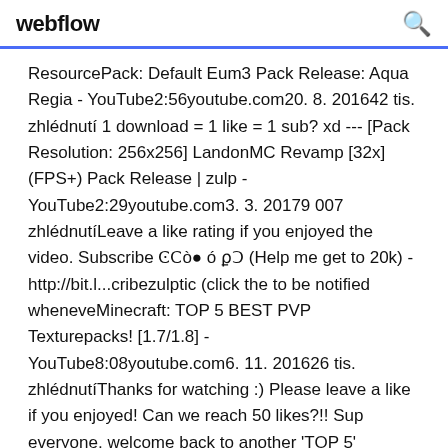webflow
ResourcePack: Default Eum3 Pack Release: Aqua Regia - YouTube2:56youtube.com20. 8. 201642 tis. zhlédnutí 1 download = 1 like = 1 sub? xd --- [Pack Resolution: 256x256] LandonMC Revamp [32x] (FPS+) Pack Release | zulp - YouTube2:29youtube.com3. 3. 20179 007 zhlédnutíLeave a like rating if you enjoyed the video. Subscribe ϾϹò● ó ϼϽ (Help me get to 20k) - http://bit.l...cribezulptic (click the to be notified wheneveMinecraft: TOP 5 BEST PVP Texturepacks! [1.7/1.8] - YouTube8:08youtube.com6. 11. 201626 tis. zhlédnutíThanks for watching :) Please leave a like if you enjoyed! Can we reach 50 likes?!! Sup everyone, welcome back to another 'TOP 5'